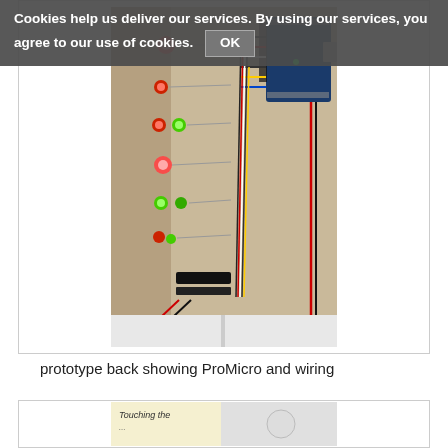[Figure (photo): Prototype back view showing ProMicro Arduino board and red/green LED wiring on a cardboard/wooden panel]
prototype back showing ProMicro and wiring
[Figure (photo): Partial view of a second prototype photo showing text 'Touching the']
Cookies help us deliver our services. By using our services, you agree to our use of cookies. OK